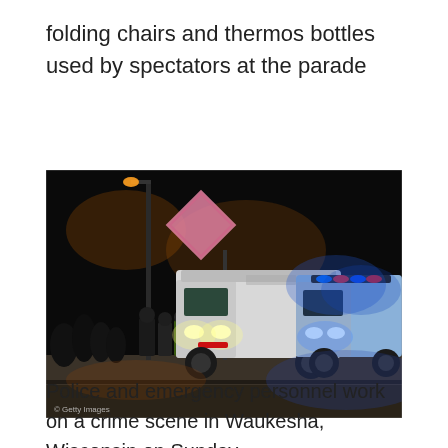folding chairs and thermos bottles used by spectators at the parade
[Figure (photo): Nighttime street scene showing police and emergency vehicles including ambulances with flashing blue and red lights at a crime scene in Waukesha, Wisconsin. People are visible near the vehicles. A pink diamond-shaped road sign is visible in the background. Getty Images watermark is visible in the lower left corner.]
Police and emergency personnel work on a crime scene in Waukesha, Wisconsin on Sunday